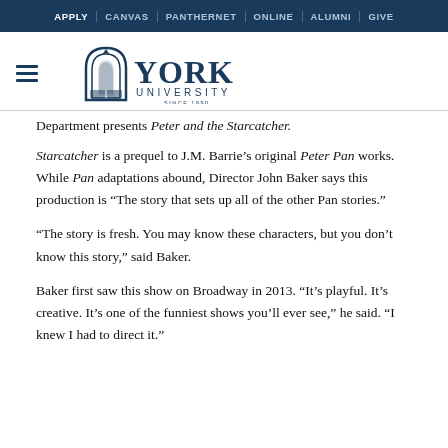APPLY | CANVAS | PANTHERNET | ONLINE | ALUMNI | GIVE
[Figure (logo): York University logo with crest and text 'YORK UNIVERSITY SINCE 1990']
Department presents Peter and the Starcatcher.
Starcatcher is a prequel to J.M. Barrie's original Peter Pan works. While Pan adaptations abound, Director John Baker says this production is "The story that sets up all of the other Pan stories."
“The story is fresh. You may know these characters, but you don’t know this story,” said Baker.
Baker first saw this show on Broadway in 2013. “It’s playful. It’s creative. It’s one of the funniest shows you’ll ever see,” he said. “I knew I had to direct it.”